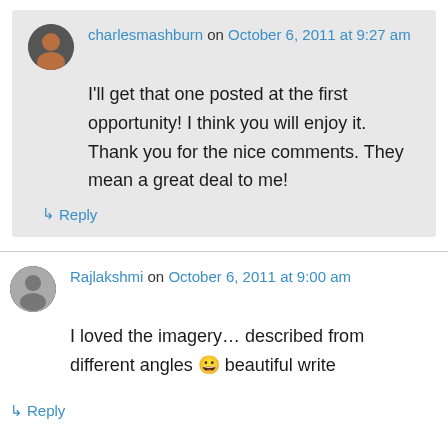charlesmashburn on October 6, 2011 at 9:27 am
I'll get that one posted at the first opportunity! I think you will enjoy it. Thank you for the nice comments. They mean a great deal to me!
↳ Reply
Rajlakshmi on October 6, 2011 at 9:00 am
I loved the imagery… described from different angles 😀 beautiful write
↳ Reply